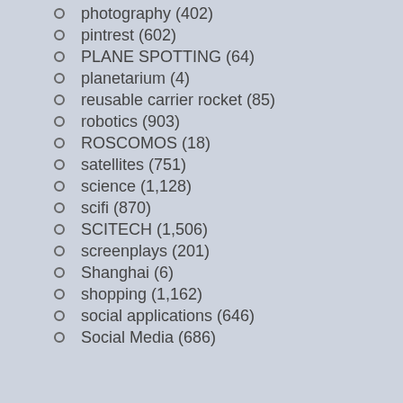photography (402)
pintrest (602)
PLANE SPOTTING (64)
planetarium (4)
reusable carrier rocket (85)
robotics (903)
ROSCOMOS (18)
satellites (751)
science (1,128)
scifi (870)
SCITECH (1,506)
screenplays (201)
Shanghai (6)
shopping (1,162)
social applications (646)
Social Media (686)